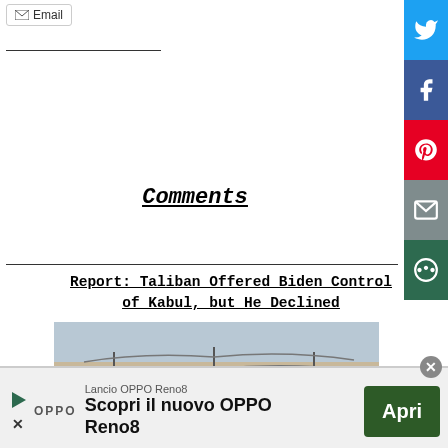Email
Comments
Report: Taliban Offered Biden Control of Kabul, but He Declined
[Figure (photo): Crowd of people at what appears to be Kabul airport, with barbed wire fence visible and people holding signs]
infolinks
Lancio OPPO Reno8 Scopri il nuovo OPPO Reno8 Apri